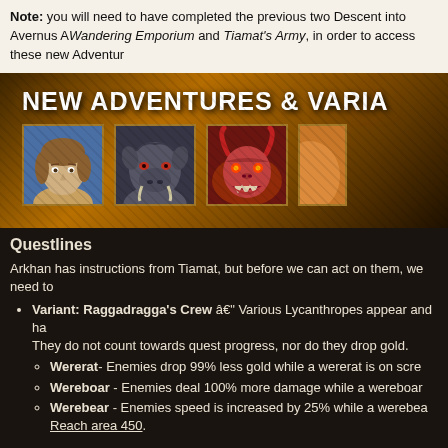Note: you will need to have completed the previous two Descent into Avernus A... Wandering Emporium and Tiamat's Army, in order to access these new Adventur...
[Figure (illustration): Dark fantasy banner reading 'NEW ADVENTURES & VARIA' with three character portrait icons: a human female, a wereboar, and a demon/devil, plus a partial fourth icon, all on a golden-brown textured background.]
Questlines
Arkhan has instructions from Tiamat, but before we can act on them, we need to...
Variant: Raggadragga's Crew — Various Lycanthropes appear and ha... They do not count towards quest progress, nor do they drop gold.
Wererat- Enemies drop 99% less gold while a wererat is on scre...
Wereboar - Enemies deal 100% more damage while a wereboar...
Werebear - Enemies speed is increased by 25% while a werebea... Reach area 450.